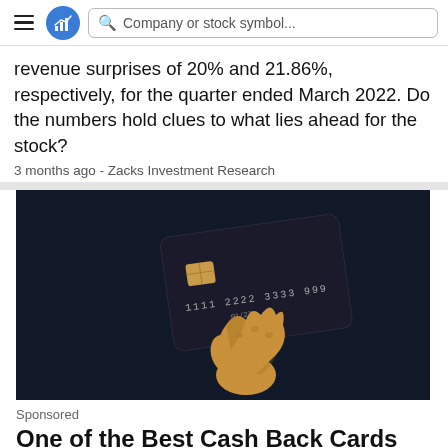Company or stock symbol...
revenue surprises of 20% and 21.86%, respectively, for the quarter ended March 2022. Do the numbers hold clues to what lies ahead for the stock?
3 months ago - Zacks Investment Research
[Figure (photo): Dark background image of a black credit card reading '1111 2222 3333 9999' with a gold metallic hand sculpture holding it from below]
Sponsored
One of the Best Cash Back Cards We've Seen